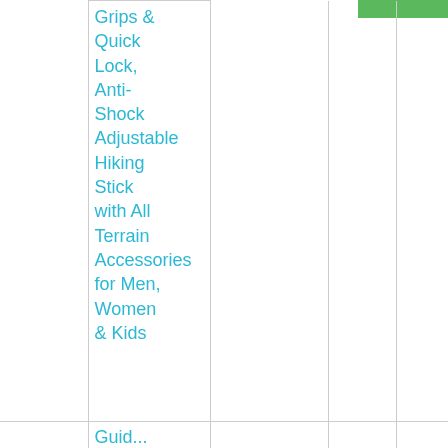|  | Grips & Quick Lock, Anti-Shock Adjustable Hiking Stick with All Terrain Accessories for Men, Women & Kids |  |  |  |
|  | Guid... |  |  |  |